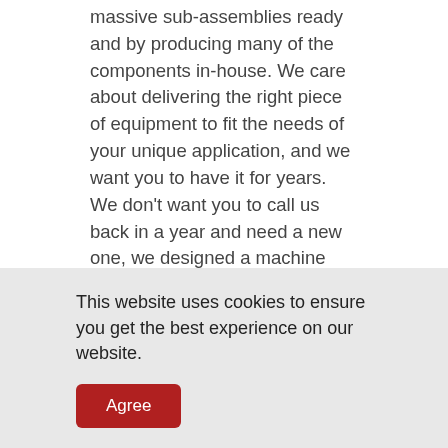massive sub-assemblies ready and by producing many of the components in-house. We care about delivering the right piece of equipment to fit the needs of your unique application, and we want you to have it for years. We don't want you to call us back in a year and need a new one, we designed a machine that can be easily maintained while being durable enough for daily hardships while not breaking down on you.
Specifications
This website uses cookies to ensure you get the best experience on our website.